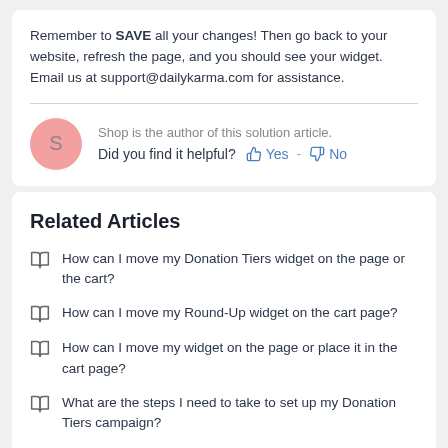Remember to SAVE all your changes! Then go back to your website, refresh the page, and you should see your widget. Email us at support@dailykarma.com for assistance.
Shop is the author of this solution article.
Did you find it helpful? Yes No
Related Articles
How can I move my Donation Tiers widget on the page or the cart?
How can I move my Round-Up widget on the cart page?
How can I move my widget on the page or place it in the cart page?
What are the steps I need to take to set up my Donation Tiers campaign?